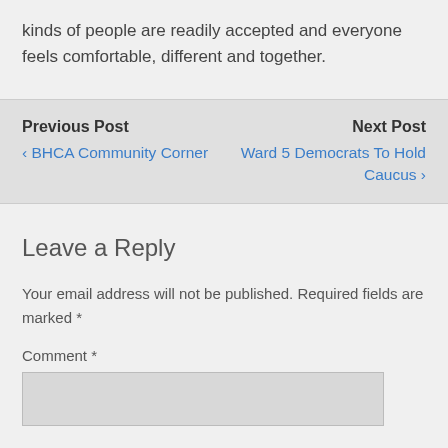kinds of people are readily accepted and everyone feels comfortable, different and together.
Previous Post
‹ BHCA Community Corner
Next Post
Ward 5 Democrats To Hold Caucus ›
Leave a Reply
Your email address will not be published. Required fields are marked *
Comment *